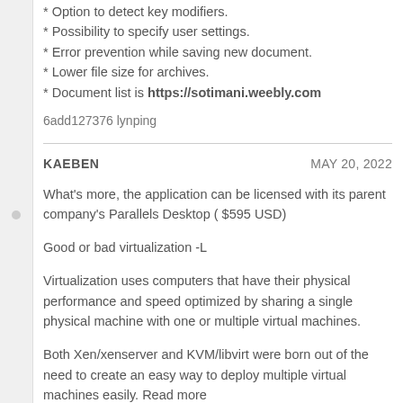* Option to detect key modifiers.
* Possibility to specify user settings.
* Error prevention while saving new document.
* Lower file size for archives.
* Document list is https://sotimani.weebly.com
6add127376 lynping
KAEBEN    MAY 20, 2022
What's more, the application can be licensed with its parent company's Parallels Desktop ( $595 USD)
Good or bad virtualization -L
Virtualization uses computers that have their physical performance and speed optimized by sharing a single physical machine with one or multiple virtual machines.
Both Xen/xenserver and KVM/libvirt were born out of the need to create an easy way to deploy multiple virtual machines easily. Read more http://www.newsdiffs.org/article-